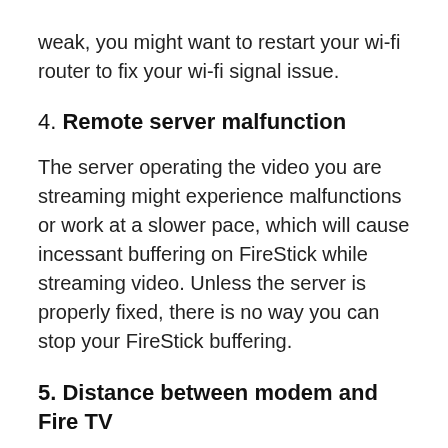weak, you might want to restart your wi-fi router to fix your wi-fi signal issue.
4. Remote server malfunction
The server operating the video you are streaming might experience malfunctions or work at a slower pace, which will cause incessant buffering on FireStick while streaming video. Unless the server is properly fixed, there is no way you can stop your FireStick buffering.
5. Distance between modem and Fire TV
A connection that is short in